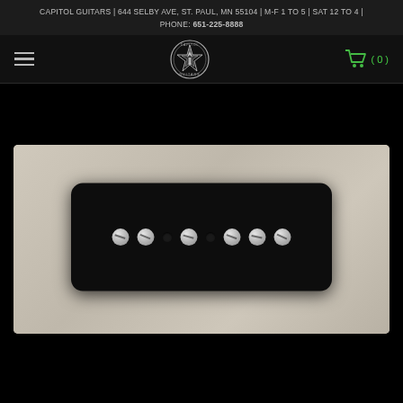CAPITOL GUITARS | 644 SELBY AVE, ST. PAUL, MN 55104 | M-F 1 TO 5 | SAT 12 TO 4 | PHONE: 651-225-8888
[Figure (logo): Navigation bar with hamburger menu icon on left, Capitol Guitars circular logo in center, green shopping cart icon with (0) on right]
[Figure (photo): Close-up photo of a black guitar pickup (P-90 or soapbar style) with silver/chrome pole screws visible through the top, against a light fabric background]